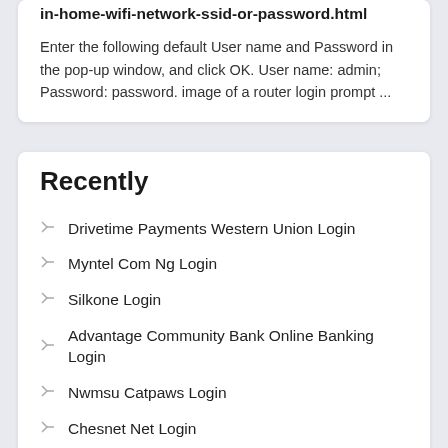in-home-wifi-network-ssid-or-password.html
Enter the following default User name and Password in the pop-up window, and click OK. User name: admin; Password: password. image of a router login prompt ...
Recently
Drivetime Payments Western Union Login
Myntel Com Ng Login
Silkone Login
Advantage Community Bank Online Banking Login
Nwmsu Catpaws Login
Chesnet Net Login
Asmconnects Jobs Login
Copher Pro Login